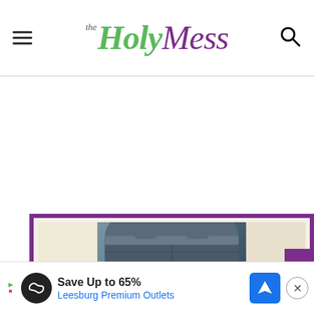The Holy Mess
[Figure (photo): Close-up photo of a person's back/torso wearing dark gray/blue ribbed yoga pants or athletic wear, inside a purple-bordered frame]
[Figure (screenshot): Advertisement banner: Save Up to 65% Leesburg Premium Outlets, with a black circular logo featuring infinity-like symbol, a blue navigation/map icon, and a close button]